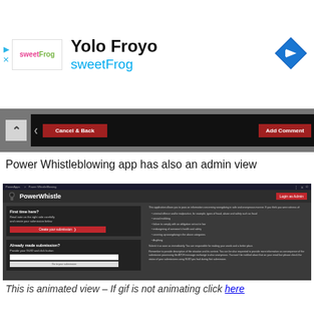[Figure (screenshot): Ad banner for Yolo Froyo sweetFrog with logo, navigation arrow icon, and ad controls]
[Figure (screenshot): App screenshot top strip showing Cancel & Back button and Add Comment button on dark background]
Power Whistleblowing app has also an admin view
[Figure (screenshot): PowerWhistle app screenshot showing the main submission interface with First time here? card, Already made submission? card, and explanatory text on the right]
This is animated view – If gif is not animating click here